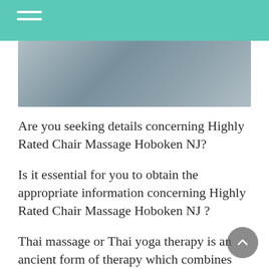[Figure (photo): A blurred photo with grey and blue tones, likely showing a person or landscape in soft focus.]
Are you seeking details concerning Highly Rated Chair Massage Hoboken NJ?
Is it essential for you to obtain the appropriate information concerning Highly Rated Chair Massage Hoboken NJ ?
Thai massage or Thai yoga therapy is an ancient form of therapy which combines acupuncture, Indian Ayurvedic practices and physical assisted stretching postures known as yoga. Dr. Gorakhnath, a yoga practitioner